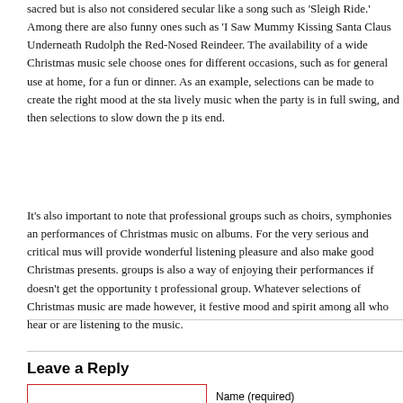sacred but is also not considered secular like a song such as 'Sleigh Ride.' Among there are also funny ones such as 'I Saw Mummy Kissing Santa Claus Underneath Rudolph the Red-Nosed Reindeer. The availability of a wide Christmas music sele choose ones for different occasions, such as for general use at home, for a fun or dinner. As an example, selections can be made to create the right mood at the sta lively music when the party is in full swing, and then selections to slow down the p its end.
It's also important to note that professional groups such as choirs, symphonies an performances of Christmas music on albums. For the very serious and critical mus will provide wonderful listening pleasure and also make good Christmas presents. groups is also a way of enjoying their performances if doesn't get the opportunity t professional group. Whatever selections of Christmas music are made however, it festive mood and spirit among all who hear or are listening to the music.
Leave a Reply
Name (required)
Mail (will not be published) (required)
Website